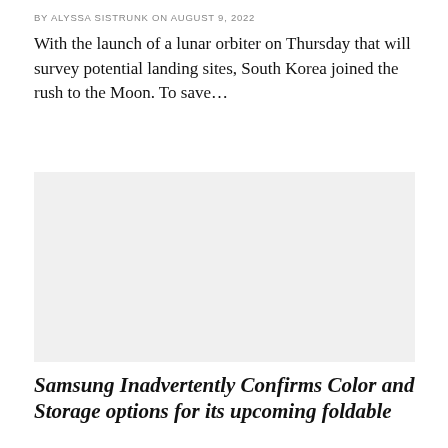BY ALYSSA SISTRUNK ON AUGUST 9, 2022
With the launch of a lunar orbiter on Thursday that will survey potential landing sites, South Korea joined the rush to the Moon. To save…
[Figure (photo): Light gray placeholder image for article photo]
Samsung Inadvertently Confirms Color and Storage options for its upcoming foldable
BY ALYSSA SISTRUNK ON AUGUST 4, 2022
There have been several leaks and rumours regarding the gadgets that are anticipated to make their debut at Samsung next Unpacked event, which is only…